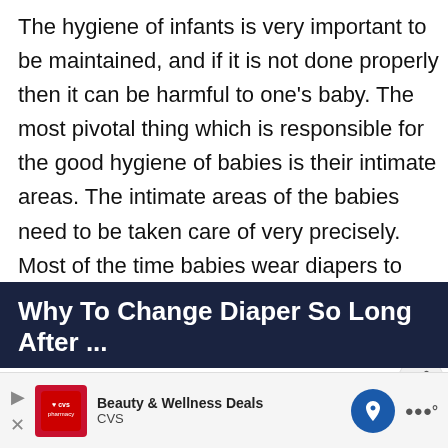The hygiene of infants is very important to be maintained, and if it is not done properly then it can be harmful to one's baby. The most pivotal thing which is responsible for the good hygiene of babies is their intimate areas. The intimate areas of the babies need to be taken care of very precisely. Most of the time babies wear diapers to prevent leakages and to feel comfortable.
[Figure (other): Social sidebar with heart/like button (blue circle), count of 1, and share button]
[Figure (other): WHAT'S NEXT arrow with thumbnail image and text 'How Long Is Hospital Sta...']
Why To Change Diaper So Long After ...
[Figure (other): Advertisement bar: CVS Pharmacy logo, 'Beauty & Wellness Deals CVS', navigation arrow icon, weather icon]